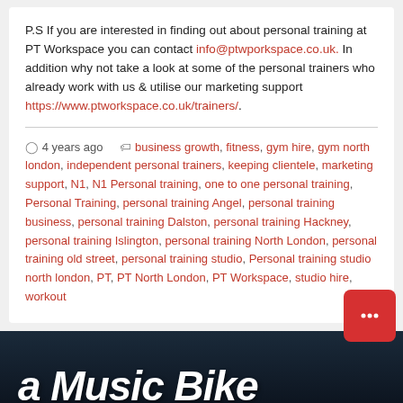P.S If you are interested in finding out about personal training at PT Workspace you can contact info@ptwporkspace.co.uk. In addition why not take a look at some of the personal trainers who already work with us & utilise our marketing support https://www.ptworkspace.co.uk/trainers/.
4 years ago  business growth, fitness, gym hire, gym north london, independent personal trainers, keeping clientele, marketing support, N1, N1 Personal training, one to one personal training, Personal Training, personal training Angel, personal training business, personal training Dalston, personal training Hackney, personal training Islington, personal training North London, personal training old street, personal training studio, Personal training studio north london, PT, PT North London, PT Workspace, studio hire, workout
[Figure (photo): Dark background photo showing partial text 'Bike' in white stylized handwritten font, partially visible at bottom of page]